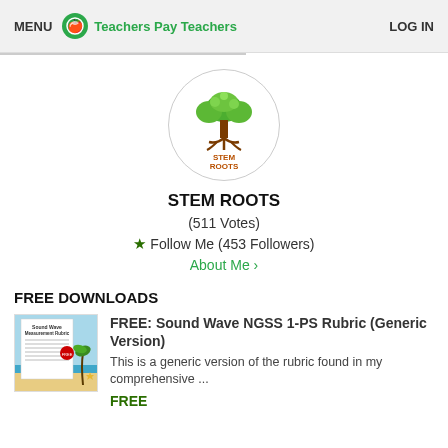MENU  Teachers Pay Teachers  LOG IN
[Figure (logo): STEM ROOTS logo: a tree with green leaves and brown roots, in a circular border, with text STEM ROOTS below the tree]
STEM ROOTS
(511 Votes)
★ Follow Me (453 Followers)
About Me ›
FREE DOWNLOADS
[Figure (photo): Thumbnail image of Sound Wave Measurement Rubric document with a beach scene background]
FREE: Sound Wave NGSS 1-PS Rubric (Generic Version)
This is a generic version of the rubric found in my comprehensive ...
FREE